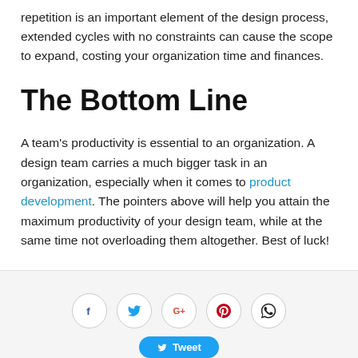repetition is an important element of the design process, extended cycles with no constraints can cause the scope to expand, costing your organization time and finances.
The Bottom Line
A team's productivity is essential to an organization. A design team carries a much bigger task in an organization, especially when it comes to product development. The pointers above will help you attain the maximum productivity of your design team, while at the same time not overloading them altogether. Best of luck!
[Figure (infographic): Social share icon bar with Facebook, Twitter, Google+, Pinterest, WhatsApp circle icons and a Tweet button partially visible at the bottom.]